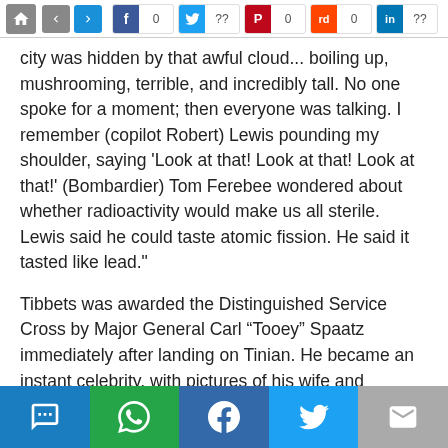Social share bar: Facebook 0, Twitter ??, Pinterest 0, Reddit 0, LinkedIn ??
city was hidden by that awful cloud... boiling up, mushrooming, terrible, and incredibly tall. No one spoke for a moment; then everyone was talking. I remember (copilot Robert) Lewis pounding my shoulder, saying ‘Look at that! Look at that! Look at that!’ (Bombardier) Tom Ferebee wondered about whether radioactivity would make us all sterile. Lewis said he could taste atomic fission. He said it tasted like lead.”
Tibbets was awarded the Distinguished Service Cross by Major General Carl “Tooey” Spaatz immediately after landing on Tinian. He became an instant celebrity, with pictures of his wife and children in the major American newspapers. He was seen as a national hero who had ended the war with Japan. Tibbets later received an invitation from President Harry S. Truman to visit the White House.
Bottom share bar: SMS, WhatsApp, Facebook, Twitter, Email